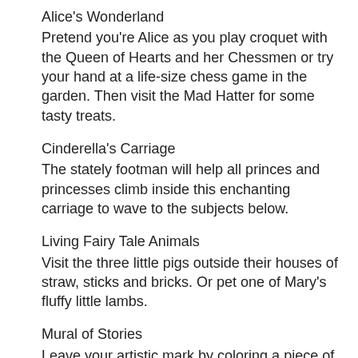Alice's Wonderland
Pretend you're Alice as you play croquet with the Queen of Hearts and her Chessmen or try your hand at a life-size chess game in the garden. Then visit the Mad Hatter for some tasty treats.
Cinderella's Carriage
The stately footman will help all princes and princesses climb inside this enchanting carriage to wave to the subjects below.
Living Fairy Tale Animals
Visit the three little pigs outside their houses of straw, sticks and bricks. Or pet one of Mary's fluffy little lambs.
Mural of Stories
Leave your artistic mark by coloring a piece of a huge mural, featuring elements of children's books and fairy tales.
Character Encounters